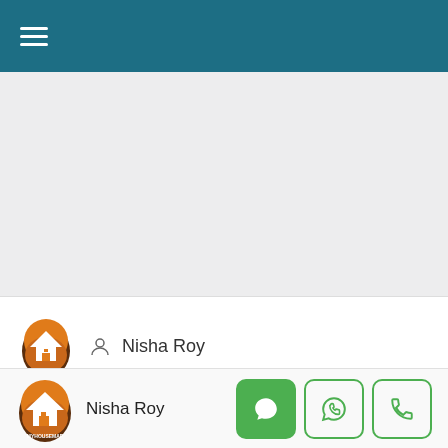Navigation bar with hamburger menu
[Figure (screenshot): Gray content area, main page body]
[Figure (logo): MyHousemap logo — egg-shaped icon with house roof in orange and brown tones]
Nisha Roy
[Figure (logo): MyHousemap logo (bottom bar) — same egg-shaped orange/brown house icon with MYHOUSEMAP text below]
Nisha Roy
[Figure (infographic): Three action buttons: filled green chat/message button, outlined green WhatsApp button, outlined green phone button]